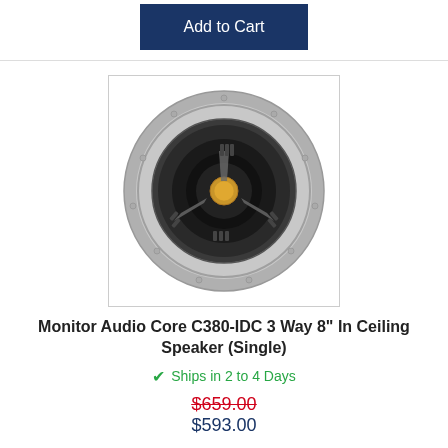Add to Cart
[Figure (photo): Front view of Monitor Audio Core C380-IDC in-ceiling speaker, circular gray speaker with black woofer and gold tweeter dome]
Monitor Audio Core C380-IDC 3 Way 8" In Ceiling Speaker (Single)
Ships in 2 to 4 Days
$659.00
$593.00